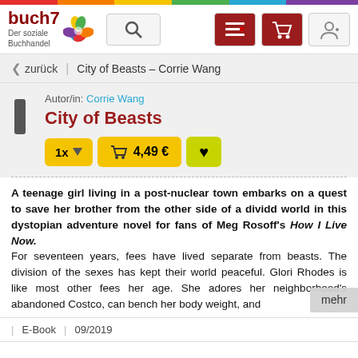[Figure (screenshot): buch7 website header with rainbow bar, logo with flower icon, search box, and navigation icons (list, cart, profile)]
zurück   |   City of Beasts – Corrie Wang
Autor/in: Corrie Wang
City of Beasts
1x   🛒 4,49 €   ♥
A teenage girl living in a post-nuclear town embarks on a quest to save her brother from the other side of a dividd world in this dystopian adventure novel for fans of Meg Rosoff's How I Live Now.
For seventeen years, fees have lived separate from beasts. The division of the sexes has kept their world peaceful. Glori Rhodes is like most other fees her age. She adores her neighborhood's abandoned Costco, can bench her body weight, and ...
E-Book   |   09/2019